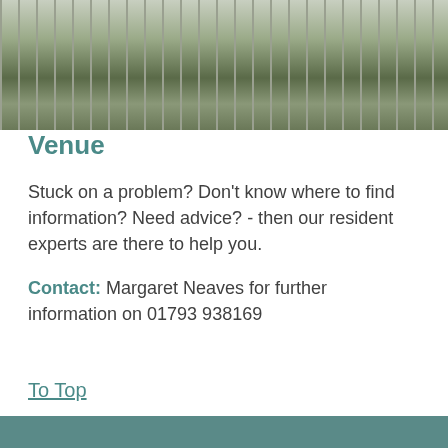[Figure (photo): Exterior photo of a stone building with windows, garden beds with shrubs, and a street/pavement visible. Cropped partial view showing the top portion.]
Venue
Stuck on a problem? Don't know where to find information? Need advice?  - then our resident experts are there to help you.
Contact: Margaret Neaves for further information on 01793 938169
To Top